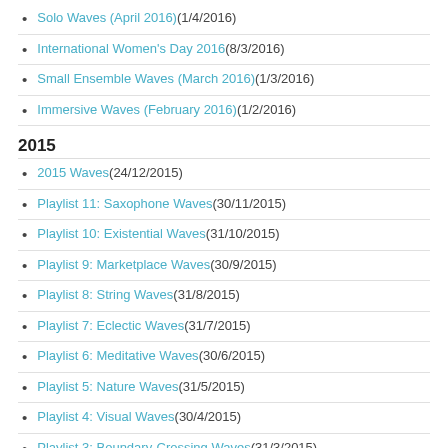Solo Waves (April 2016) (1/4/2016)
International Women's Day 2016 (8/3/2016)
Small Ensemble Waves (March 2016) (1/3/2016)
Immersive Waves (February 2016) (1/2/2016)
2015
2015 Waves (24/12/2015)
Playlist 11: Saxophone Waves (30/11/2015)
Playlist 10: Existential Waves (31/10/2015)
Playlist 9: Marketplace Waves (30/9/2015)
Playlist 8: String Waves (31/8/2015)
Playlist 7: Eclectic Waves (31/7/2015)
Playlist 6: Meditative Waves (30/6/2015)
Playlist 5: Nature Waves (31/5/2015)
Playlist 4: Visual Waves (30/4/2015)
Playlist 3: Boundary-Crossing Waves (31/3/2015)
Playlist 2: Other-Worldly Waves (28/2/2015)
Playlist 1: Chamber Waves (31/1/2015)